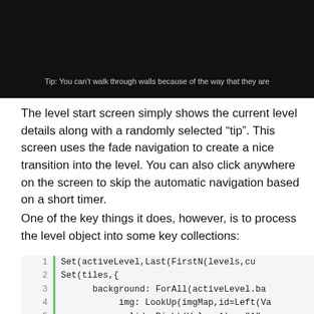[Figure (screenshot): Black screenshot of a game level start screen with white text reading: Tip: You can't walk through walls because of the way that they are]
The level start screen simply shows the current level details along with a randomly selected “tip”. This screen uses the fade navigation to create a nice transition into the level. You can also click anywhere on the screen to skip the automatic navigation based on a short timer.
One of the key things it does, however, is to process the level object into some key collections:
1  Set(activeLevel,Last(FirstN(levels,cu
2  Set(tiles,{
3       background: ForAll(activeLevel.ba
4            img: LookUp(imgMap,id=Left(Va
5            solid: Right(Value,1) = "1"
6       })
7  });
8  ClearCollect(crates, ForAll(activeLev